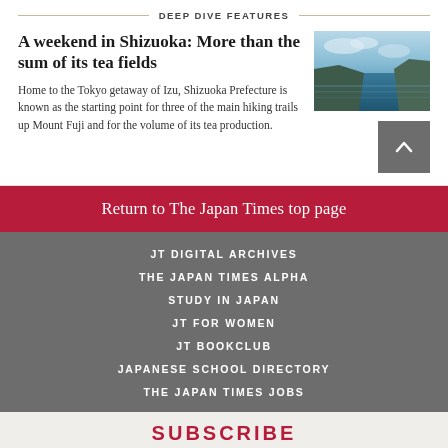DEEP DIVE FEATURES
A weekend in Shizuoka: More than the sum of its tea fields
[Figure (photo): Coastal landscape photo showing ocean, cliffs and sky, representing Shizuoka/Izu area]
Home to the Tokyo getaway of Izu, Shizuoka Prefecture is known as the starting point for three of the main hiking trails up Mount Fuji and for the volume of its tea production.
Return to The Japan Times top page
JT DIGITAL ARCHIVES
THE JAPAN TIMES ALPHA
STUDY IN JAPAN
JT FOR WOMEN
JT BOOKCLUB
JAPANESE SCHOOL DIRECTORY
THE JAPAN TIMES JOBS
SUBSCRIBE